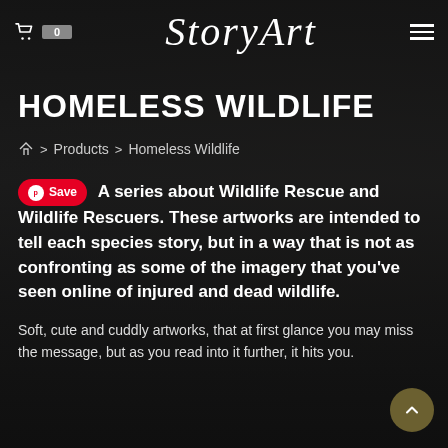StoryArt
HOMELESS WILDLIFE
🏠 > Products > Homeless Wildlife
A series about Wildlife Rescue and Wildlife Rescuers. These artworks are intended to tell each species story, but in a way that is not as confronting as some of the imagery that you've seen online of injured and dead wildlife.
Soft, cute and cuddly artworks, that at first glance you may miss the message, but as you read into it further, it hits you.